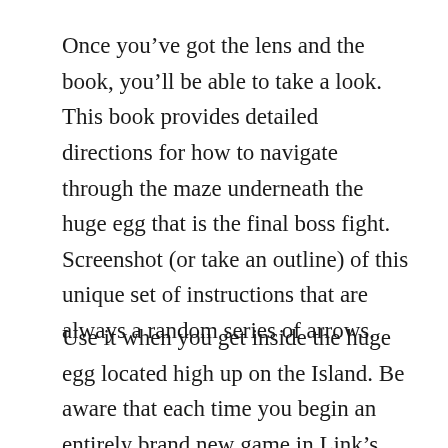Once you've got the lens and the book, you'll be able to take a look. This book provides detailed directions for how to navigate through the maze underneath the huge egg that is the final boss fight. Screenshot (or take an outline) of this unique set of instructions that are always a random series of arrows.
Use it when you get inside the huge egg located high up on the Island. Be aware that each time you begin an entirely brand new game in Link's Awakening this set of directions is different and you shouldn't be expecting to reuse your notes for